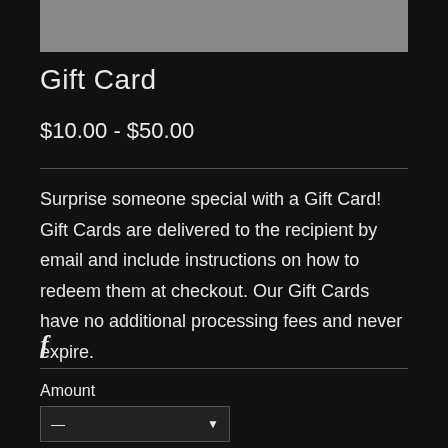[Figure (other): Gray rectangular image/banner at the top of the page]
Gift Card
$10.00 - $50.00
Surprise someone special with a Gift Card! Gift Cards are delivered to the recipient by email and include instructions on how to redeem them at checkout. Our Gift Cards have no additional processing fees and never expire.
[Figure (logo): Facebook icon (f logo)]
Amount
[Figure (screenshot): Dropdown selector for amount with dash placeholder and arrow]